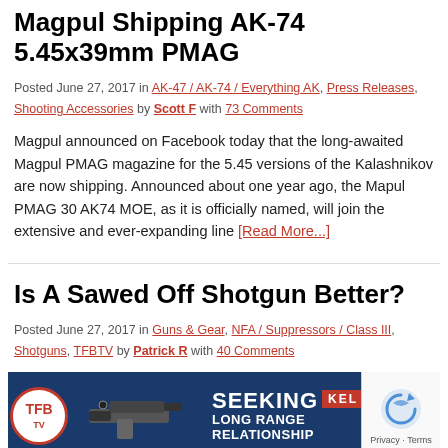Magpul Shipping AK-74 5.45x39mm PMAG
Posted June 27, 2017 in AK-47 / AK-74 / Everything AK, Press Releases, Shooting Accessories by Scott F with 73 Comments
Magpul announced on Facebook today that the long-awaited Magpul PMAG magazine for the 5.45 versions of the Kalashnikov are now shipping. Announced about one year ago, the Mapul PMAG 30 AK74 MOE, as it is officially named, will join the extensive and ever-expanding line [Read More...]
Is A Sawed Off Shotgun Better?
Posted June 27, 2017 in Guns & Gear, NFA / Suppressors / Class III, Shotguns, TFBTV by Patrick R with 40 Comments
[Figure (screenshot): Advertisement banner for Kel-Tec CP33 pistol with TFB logo, handgun image, and text SEEKING LONG RANGE RELATIONSHIP with Buy Now button and reCAPTCHA badge]